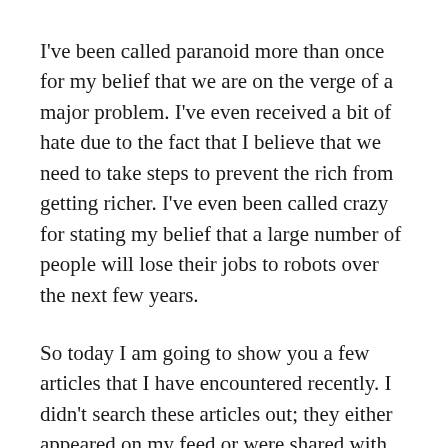I've been called paranoid more than once for my belief that we are on the verge of a major problem. I've even received a bit of hate due to the fact that I believe that we need to take steps to prevent the rich from getting richer. I've even been called crazy for stating my belief that a large number of people will lose their jobs to robots over the next few years.
So today I am going to show you a few articles that I have encountered recently. I didn't search these articles out; they either appeared on my feed or were shared with me by others.
What would you do if you suddenly lost your